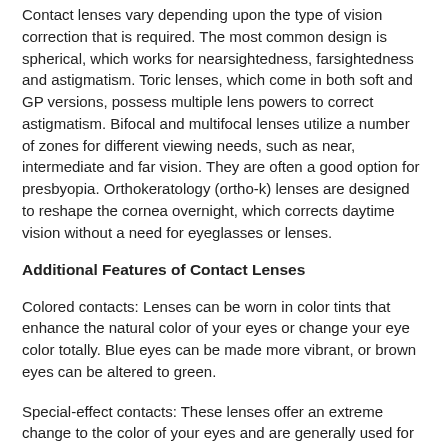Contact lenses vary depending upon the type of vision correction that is required. The most common design is spherical, which works for nearsightedness, farsightedness and astigmatism. Toric lenses, which come in both soft and GP versions, possess multiple lens powers to correct astigmatism. Bifocal and multifocal lenses utilize a number of zones for different viewing needs, such as near, intermediate and far vision. They are often a good option for presbyopia. Orthokeratology (ortho-k) lenses are designed to reshape the cornea overnight, which corrects daytime vision without a need for eyeglasses or lenses.
Additional Features of Contact Lenses
Colored contacts: Lenses can be worn in color tints that enhance the natural color of your eyes or change your eye color totally. Blue eyes can be made more vibrant, or brown eyes can be altered to green.
Special-effect contacts: These lenses offer an extreme change to the color of your eyes and are generally used for costumes or